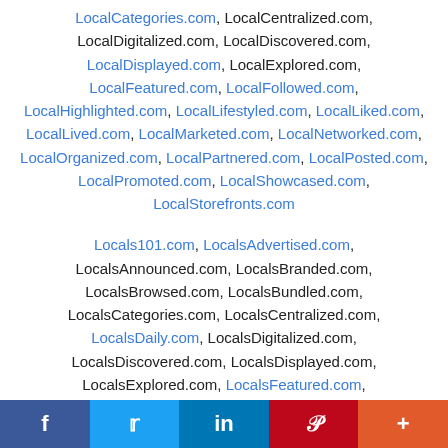LocalCategories.com, LocalCentralized.com, LocalDigitalized.com, LocalDiscovered.com, LocalDisplayed.com, LocalExplored.com, LocalFeatured.com, LocalFollowed.com, LocalHighlighted.com, LocalLifestyled.com, LocalLiked.com, LocalLived.com, LocalMarketed.com, LocalNetworked.com, LocalOrganized.com, LocalPartnered.com, LocalPosted.com, LocalPromoted.com, LocalShowcased.com, LocalStorefronts.com
Locals101.com, LocalsAdvertised.com, LocalsAnnounced.com, LocalsBranded.com, LocalsBrowsed.com, LocalsBundled.com, LocalsCategories.com, LocalsCentralized.com, LocalsDaily.com, LocalsDigitalized.com, LocalsDiscovered.com, LocalsDisplayed.com, LocalsExplored.com, LocalsFeatured.com, LocalsFollowed.com, LocalsHighlighted.com
f  Twitter  in  P  +